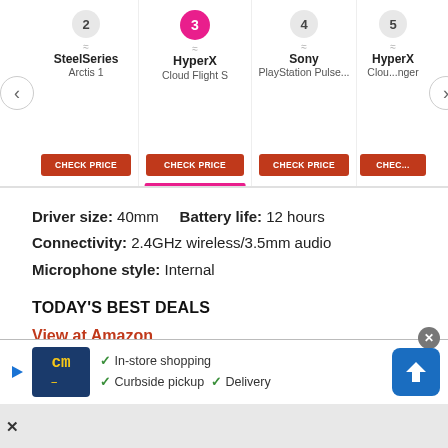[Figure (screenshot): Product carousel showing ranked headphone products: SteelSeries Arctis 1 (rank 2), HyperX Cloud Flight S (rank 3, active/selected), Sony PlayStation Pulse... (rank 4), HyperX Cloud ... (rank 5). Each card has a CHECK PRICE button. Navigation arrows on left and right.]
Driver size: 40mm   Battery life: 12 hours
Connectivity: 2.4GHz wireless/3.5mm audio
Microphone style: Internal
TODAY'S BEST DEALS
View at Amazon
View at Best Buy
View at Walmart
[Figure (screenshot): Advertisement banner with cm logo, checkmarks for In-store shopping, Curbside pickup, Delivery, and a navigation/directions icon.]